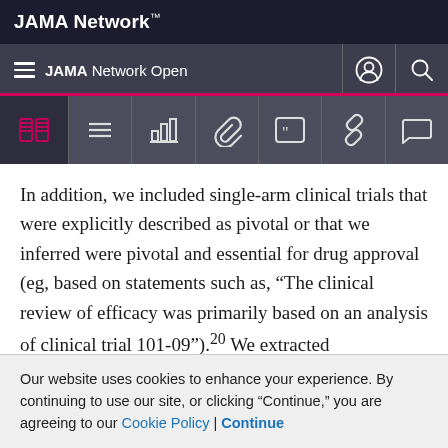JAMA Network
JAMA Network Open
[Figure (screenshot): JAMA Network Open website toolbar with navigation icons: book/read, menu, data/bar chart, paperclip, quote, link, comment icons]
In addition, we included single-arm clinical trials that were explicitly described as pivotal or that we inferred were pivotal and essential for drug approval (eg, based on statements such as, "The clinical review of efficacy was primarily based on an analysis of clinical trial 101-09").20 We extracted characteristics of the drugs, indications, clinical and regulatory details, and features of all eligible clinical trials. For RCTs, we extracted the—
Our website uses cookies to enhance your experience. By continuing to use our site, or clicking "Continue," you are agreeing to our Cookie Policy | Continue